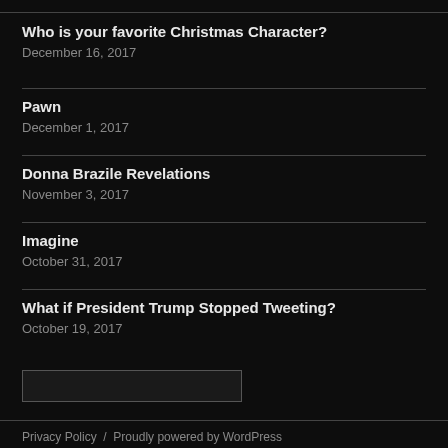Who is your favorite Christmas Character?
December 16, 2017
Pawn
December 1, 2017
Donna Brazile Revelations
November 3, 2017
Imagine
October 31, 2017
What if President Trump Stopped Tweeting?
October 19, 2017
Privacy Policy  /  Proudly powered by WordPress